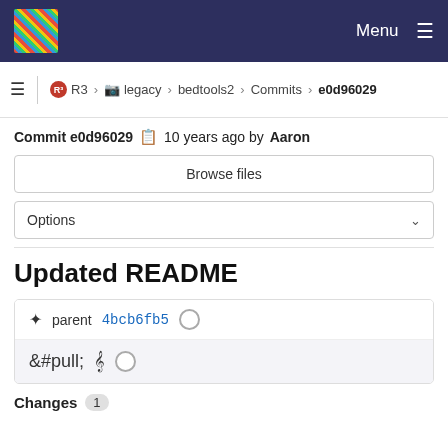Menu
R3 > legacy > bedtools2 > Commits > e0d96029
Commit e0d96029  10 years ago by Aaron
Browse files
Options
Updated README
parent 4bcb6fb5
Changes 1